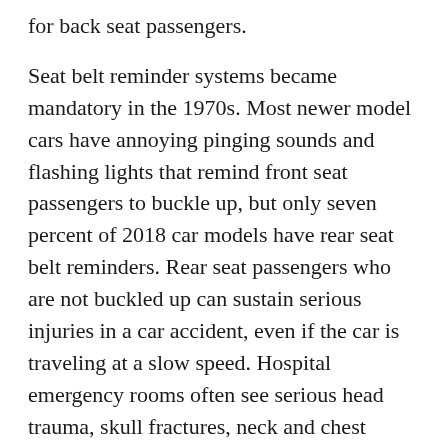for back seat passengers.
Seat belt reminder systems became mandatory in the 1970s. Most newer model cars have annoying pinging sounds and flashing lights that remind front seat passengers to buckle up, but only seven percent of 2018 car models have rear seat belt reminders. Rear seat passengers who are not buckled up can sustain serious injuries in a car accident, even if the car is traveling at a slow speed. Hospital emergency rooms often see serious head trauma, skull fractures, neck and chest injuries, facial lacerations, and broken limbs caused when a passenger in the back seat of a car is jolted into the front seat, dashboard, or windshield.
In 2015, there were two high-profile crash deaths to backseat passengers who were not buckled up. Bob Simon, a well-known 60 Minutes correspondent, died in a taxi crash in Manhattan. When thrown out of the backseat on impact, he suffered severe head trauma and a broken neck. John